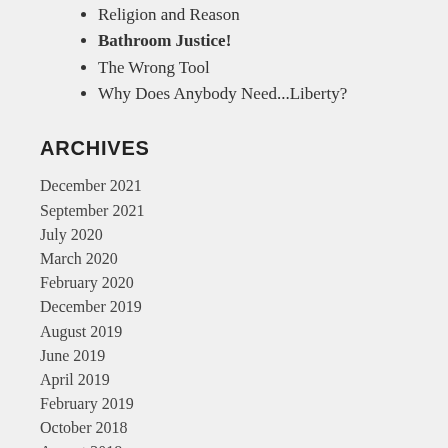Religion and Reason
Bathroom Justice!
The Wrong Tool
Why Does Anybody Need...Liberty?
ARCHIVES
December 2021
September 2021
July 2020
March 2020
February 2020
December 2019
August 2019
June 2019
April 2019
February 2019
October 2018
August 2018
July 2018